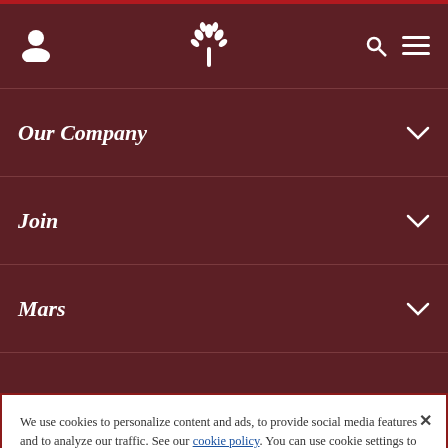[Figure (screenshot): Dark maroon navigation header bar with a person icon on the left, a stylized tree/leaf logo in the center, and search and hamburger menu icons on the right.]
Our Company
Join
Mars
We use cookies to personalize content and ads, to provide social media features and to analyze our traffic. See our cookie policy. You can use cookie settings to change your preferences.
COOKIE SETTINGS